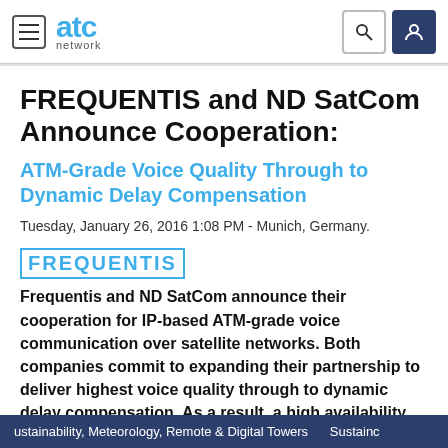atc network
FREQUENTIS and ND SatCom Announce Cooperation:
ATM-Grade Voice Quality Through to Dynamic Delay Compensation
Tuesday, January 26, 2016 1:08 PM - Munich, Germany.
[Figure (logo): FREQUENTIS logo in blue with border]
Frequentis and ND SatCom announce their cooperation for IP-based ATM-grade voice communication over satellite networks. Both companies commit to expanding their partnership to deliver highest voice quality through to dynamic delay compensation. As a result, a high availability solution will serve all future customers in
ustainability, Meteorology, Remote & Digital Towers    Sustainc